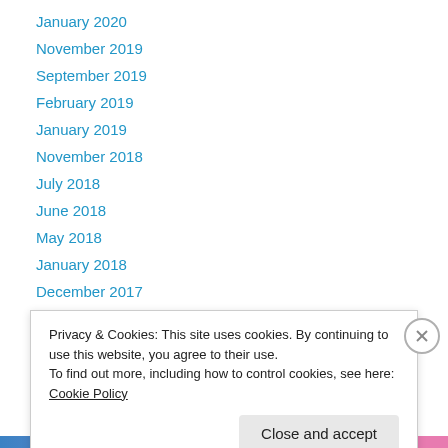January 2020
November 2019
September 2019
February 2019
January 2019
November 2018
July 2018
June 2018
May 2018
January 2018
December 2017
November 2017
July 2017
Privacy & Cookies: This site uses cookies. By continuing to use this website, you agree to their use.
To find out more, including how to control cookies, see here: Cookie Policy
Close and accept